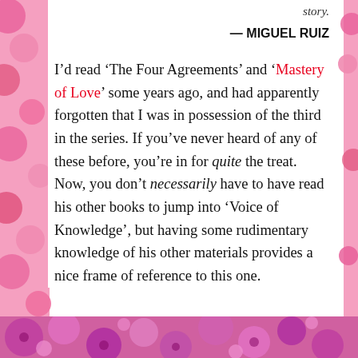story.
— MIGUEL RUIZ
I’d read ‘The Four Agreements’ and ‘Mastery of Love’ some years ago, and had apparently forgotten that I was in possession of the third in the series. If you’ve never heard of any of these before, you’re in for quite the treat. Now, you don’t necessarily have to have read his other books to jump into ‘Voice of Knowledge’, but having some rudimentary knowledge of his other materials provides a nice frame of reference to this one.
[Figure (photo): Pink flowers decorating the bottom and sides of the page]